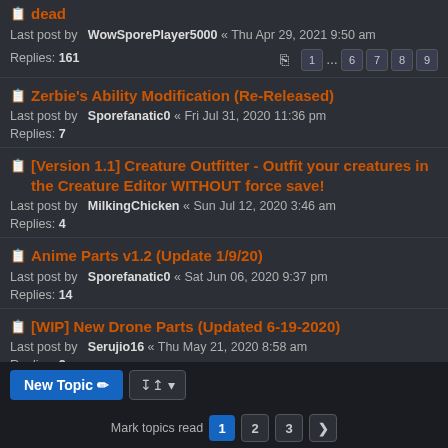dead — Last post by WowSporePlayer5000 « Thu Apr 29, 2021 9:50 am — Replies: 161
Zerbie's Ability Modification (Re-Released) — Last post by Sporefanatic0 « Fri Jul 31, 2020 11:36 pm — Replies: 7
[Version 1.1] Creature Outfitter - Outfit your creatures in the Creature Editor WITHOUT force save! — Last post by MilkingChicken « Sun Jul 12, 2020 3:46 am — Replies: 4
Anime Parts v1.2 (Update 1/9/20) — Last post by Sporefanatic0 « Sat Jun 06, 2020 9:37 pm — Replies: 14
[WIP] New Drone Parts (Updated 6-19-2020) — Last post by Serujio16 « Thu May 21, 2020 8:58 am — Replies: 2
New Topic  |  Mark topics read  1  2  3  >